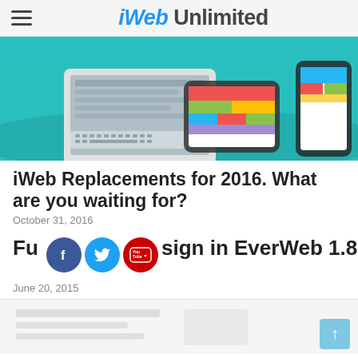iWeb Unlimited
[Figure (illustration): Hero image showing web design tools: laptop, tablet, and smartphone on a teal background with colorful UI blocks]
iWeb Replacements for 2016. What are you waiting for?
October 31, 2016
Full Web Design in EverWeb 1.8
June 20, 2015
[Figure (screenshot): Partial screenshot below the fold, partially visible at bottom of page]